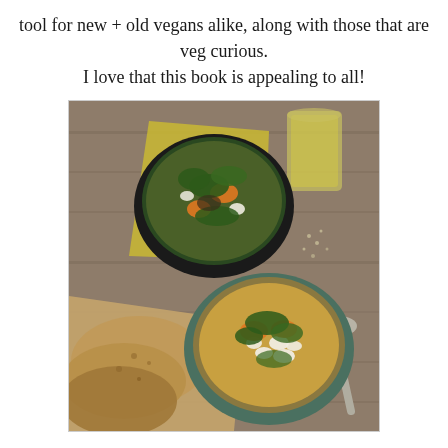tool for new + old vegans alike, along with those that are veg curious.
I love that this book is appealing to all!
[Figure (photo): Overhead food photography showing two bowls of vegetable and white bean soup with kale and carrots, served on a wooden table. A yellow napkin, sliced bread on a cutting board, a glass of olive oil or water, and a spoon are also visible.]